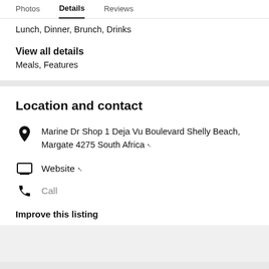Photos   Details   Reviews
Lunch, Dinner, Brunch, Drinks
View all details
Meals, Features
Location and contact
Marine Dr Shop 1 Deja Vu Boulevard Shelly Beach, Margate 4275 South Africa ↗
Website ↗
Call
Improve this listing